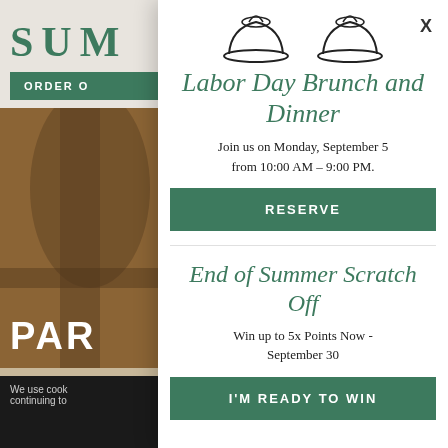[Figure (screenshot): Background website showing partial 'SUM' logo in teal, ORDER button, and restaurant chair photo with 'PAR' text overlay, and cookie consent bar]
[Figure (illustration): Two decorative chef hat / cloche icons at top of modal]
Labor Day Brunch and Dinner
Join us on Monday, September 5 from 10:00 AM – 9:00 PM.
RESERVE
End of Summer Scratch Off
Win up to 5x Points Now - September 30
I'M READY TO WIN